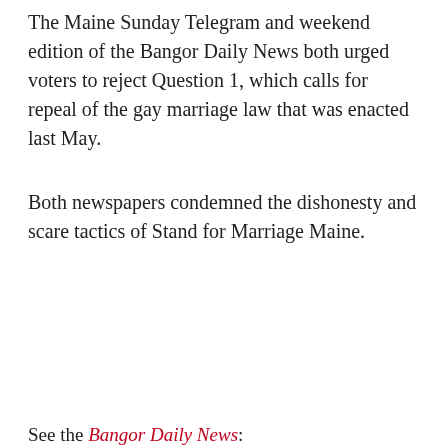The Maine Sunday Telegram and weekend edition of the Bangor Daily News both urged voters to reject Question 1, which calls for repeal of the gay marriage law that was enacted last May.
Both newspapers condemned the dishonesty and scare tactics of Stand for Marriage Maine.
[Figure (logo): LGBTQ Nation logo with rainbow Q, inside a red-bordered box containing 'Get the Daily Brief' newsletter signup with email input and Subscribe button.]
See the Bangor Daily News: